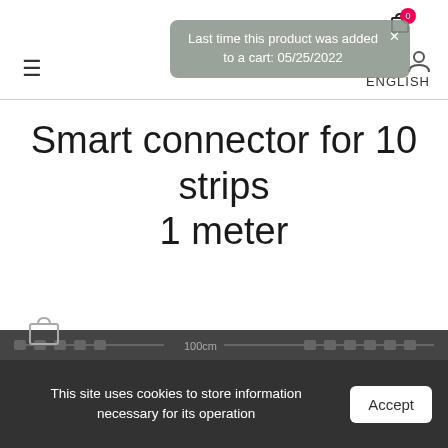Navigation header with hamburger menu, cart icon, user icon, ENGLISH label
Last time this product was added to a cart: 05/25/2022
Smart connector for 10 strips 1 meter
This site uses cookies to store information necessary for its operation
Accept